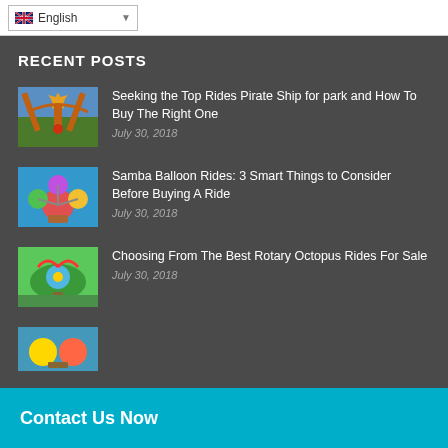English
RECENT POSTS
Seeking the Top Rides Pirate Ship for park and How To Buy The Right One
July 30, 2018
Samba Balloon Rides: 3 Smart Things to Consider Before Buying A Ride
July 30, 2018
Choosing From The Best Rotary Octopus Rides For Sale
July 30, 2018
Contact Us Now